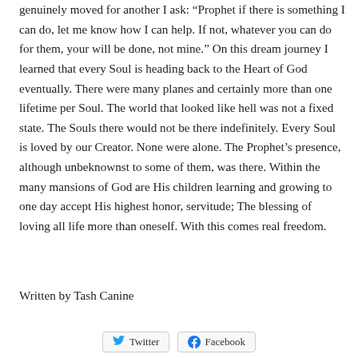genuinely moved for another I ask: “Prophet if there is something I can do, let me know how I can help. If not, whatever you can do for them, your will be done, not mine.” On this dream journey I learned that every Soul is heading back to the Heart of God eventually. There were many planes and certainly more than one lifetime per Soul. The world that looked like hell was not a fixed state. The Souls there would not be there indefinitely. Every Soul is loved by our Creator. None were alone. The Prophet’s presence, although unbeknownst to some of them, was there. Within the many mansions of God are His children learning and growing to one day accept His highest honor, servitude; The blessing of loving all life more than oneself. With this comes real freedom.
Written by Tash Canine